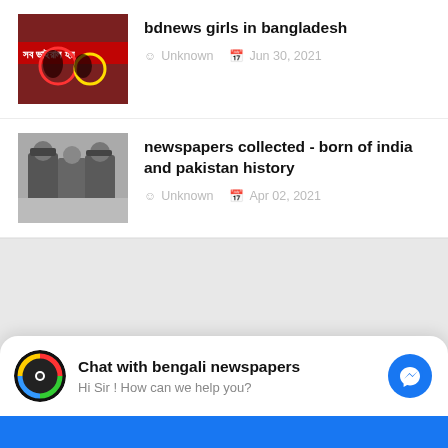[Figure (screenshot): Article listing: bdnews girls in bangladesh with thumbnail showing Bengali text overlay on image]
bdnews girls in bangladesh
Unknown  Jun 30, 2021
[Figure (screenshot): Article listing: newspapers collected - born of india and pakistan history with black and white historical photo thumbnail]
newspapers collected - born of india and pakistan history
Unknown  Apr 02, 2021
[Figure (screenshot): Chat widget at bottom: Chat with bengali newspapers - Hi Sir ! How can we help you?]
Chat with bengali newspapers
Hi Sir ! How can we help you?